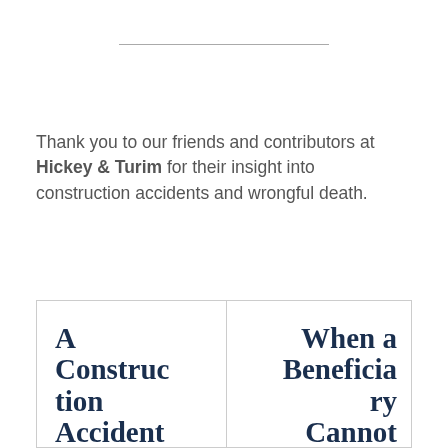Thank you to our friends and contributors at Hickey & Turim for their insight into construction accidents and wrongful death.
[Figure (illustration): Two book covers side by side in a bordered box. Left book title: 'A Construction Accident Lawyer You Can...'. Right book title: 'When a Beneficiary Cannot Collect Trust...']